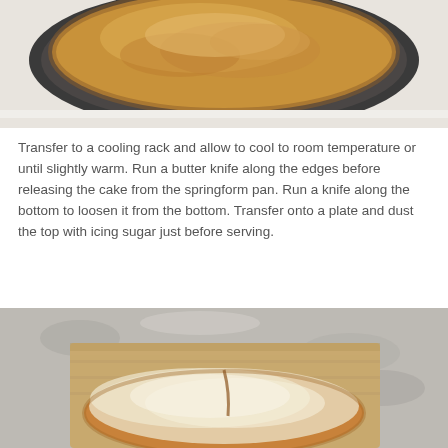[Figure (photo): Top portion of a golden-brown cake baked in a dark springform pan, viewed from above, sitting on a white surface.]
Transfer to a cooling rack and allow to cool to room temperature or until slightly warm. Run a butter knife along the edges before releasing the cake from the springform pan. Run a knife along the bottom to loosen it from the bottom. Transfer onto a plate and dust the top with icing sugar just before serving.
[Figure (photo): A round cake dusted with icing sugar on a wooden cutting board, placed on a granite countertop.]